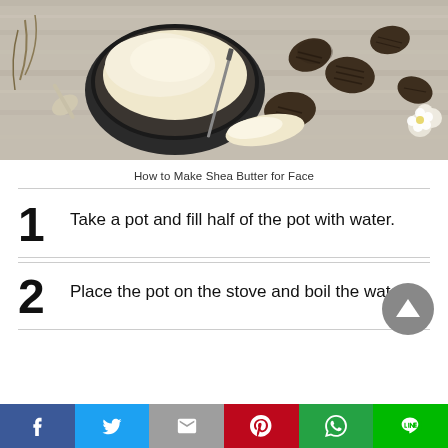[Figure (photo): Shea butter in a dark bowl with shea nuts and white flowers on a weathered wooden surface, with a knife and spoon]
How to Make Shea Butter for Face
1  Take a pot and fill half of the pot with water.
2  Place the pot on the stove and boil the water.